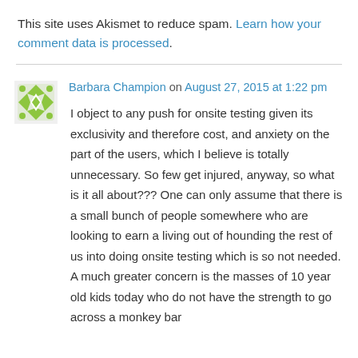This site uses Akismet to reduce spam. Learn how your comment data is processed.
Barbara Champion on August 27, 2015 at 1:22 pm
I object to any push for onsite testing given its exclusivity and therefore cost, and anxiety on the part of the users, which I believe is totally unnecessary. So few get injured, anyway, so what is it all about??? One can only assume that there is a small bunch of people somewhere who are looking to earn a living out of hounding the rest of us into doing onsite testing which is so not needed. A much greater concern is the masses of 10 year old kids today who do not have the strength to go across a monkey bar